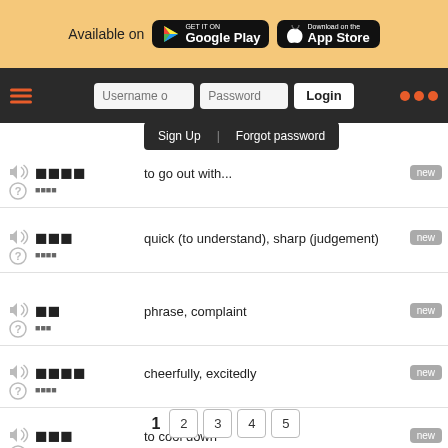[Figure (screenshot): App store banner with Google Play and Apple App Store badges, navigation bar with login form, dropdown menu with Sign Up and Forgot password, vocabulary list with Japanese words and English meanings, pagination]
to go out with... - new
quick (to understand), sharp (judgement) - new
phrase, complaint - new
cheerfully, excitedly - new
to cool down - new
1  2  3  4  5